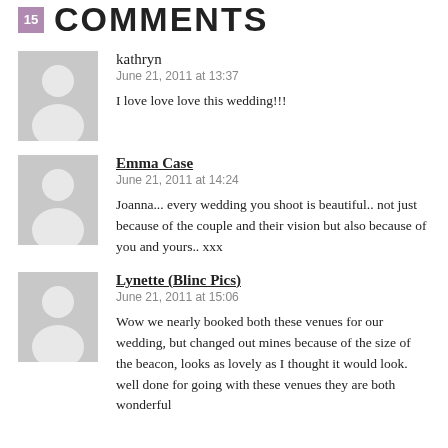15 COMMENTS
[Figure (illustration): Gray avatar placeholder for kathryn]
kathryn
June 21, 2011 at 13:37

I love love love this wedding!!!
[Figure (illustration): Gray avatar placeholder for Emma Case]
Emma Case
June 21, 2011 at 14:24

Joanna... every wedding you shoot is beautiful.. not just because of the couple and their vision but also because of you and yours.. xxx
[Figure (illustration): Gray avatar placeholder for Lynette (Blinc Pics)]
Lynette (Blinc Pics)
June 21, 2011 at 15:06

Wow we nearly booked both these venues for our wedding, but changed out mines because of the size of the beacon, looks as lovely as I thought it would look. well done for going with these venues they are both wonderful